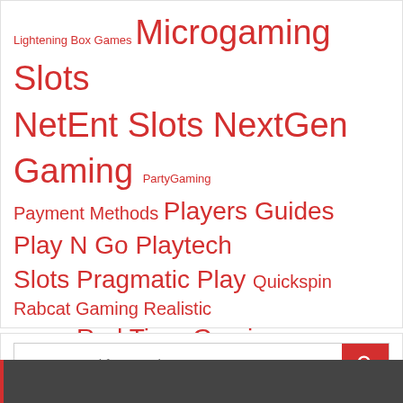Lightening Box Games Microgaming Slots NetEnt Slots NextGen Gaming PartyGaming Payment Methods Players Guides Play N Go Playtech Slots Pragmatic Play Quickspin Rabcat Gaming Realistic Games Red Tiger Gaming Rising Entertainment Saucify SC Digital Side City Studios Slot Reviews Stormcraft Studios Thunderkick Tom Horn Gaming WMS Gaming Yggdrasil Gaming
Enter a word for search